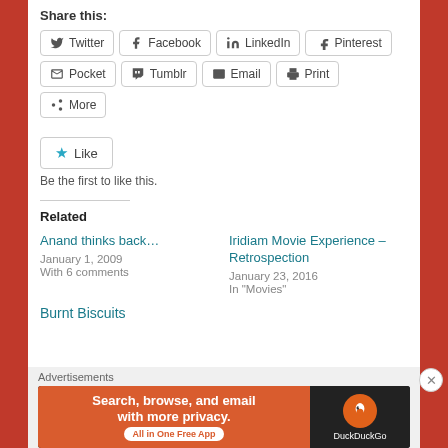Share this:
Twitter | Facebook | LinkedIn | Pinterest
Pocket | Tumblr | Email | Print | More
Like
Be the first to like this.
Related
Anand thinks back…
January 1, 2009
With 6 comments
Iridiam Movie Experience – Retrospection
January 23, 2016
In "Movies"
Burnt Biscuits
Advertisements
[Figure (screenshot): DuckDuckGo advertisement banner: 'Search, browse, and email with more privacy. All in One Free App' with DuckDuckGo logo on dark background]